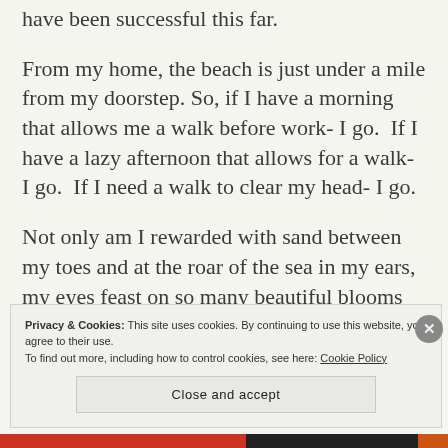have been successful this far.
From my home, the beach is just under a mile from my doorstep. So, if I have a morning that allows me a walk before work- I go.  If I have a lazy afternoon that allows for a walk- I go.  If I need a walk to clear my head- I go.
Not only am I rewarded with sand between my toes and at the roar of the sea in my ears, my eyes feast on so many beautiful blooms along
Privacy & Cookies: This site uses cookies. By continuing to use this website, you agree to their use.
To find out more, including how to control cookies, see here: Cookie Policy
Close and accept